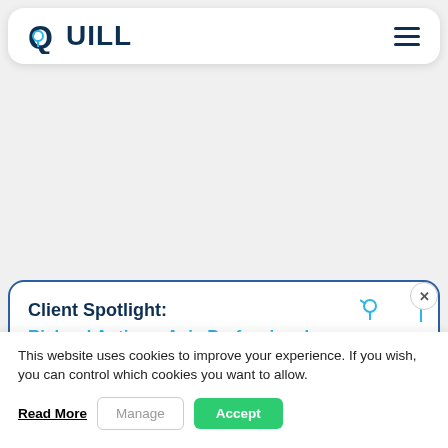[Figure (logo): QUILL logo with stylized Q containing a location pin icon, dark navy blue text, with hamburger menu icon on the right]
[Figure (screenshot): Client Spotlight card with title 'Client Spotlight: Richard Antipas, Axis Professional' with a photo strip at the bottom and decorative quill icons]
This website uses cookies to improve your experience. If you wish, you can control which cookies you want to allow.
Read More
Manage
Accept